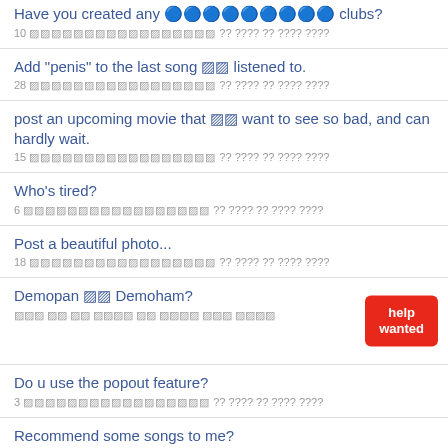Have you created any ????????? clubs?
10 ????????????????? ?? ???? ?? ???? ????
Add "penis" to the last song ?? listened to.
28 ????????????????? ?? ???? ?? ???? ????
post an upcoming movie that ?? want to see so bad, and can hardly wait.
15 ????????????????? ?? ???? ?? ???? ????
Who's tired?
6 ????????????????? ?? ???? ?? ???? ????
Post a beautiful photo...
18 ????????????????? ?? ???? ?? ???? ????
Demopan ?? Demoham?
??? ?? ?? ???? ?? ???? ??? ????
Do u use the popout feature?
3 ????????????????? ?? ???? ?? ???? ????
Recommend some songs to me?
10 ????????????????? ?? ???? ?? ???? ????
Song obsession?
24 ????????????????? ?? ???? ?? ???? ????